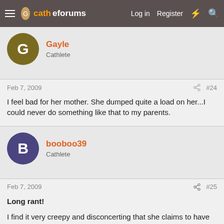cathe forums — Log in | Register
Gayle
Cathlete
Feb 7, 2009
#24
I feel bad for her mother. She dumped quite a load on her...I could never do something like that to my parents.
booboo39
Cathlete
Feb 7, 2009
#25
Long rant!

I find it very creepy and disconcerting that she claims to have had all these babies to make up for whatever issues (can't remember the details) she may have had in her childhood...